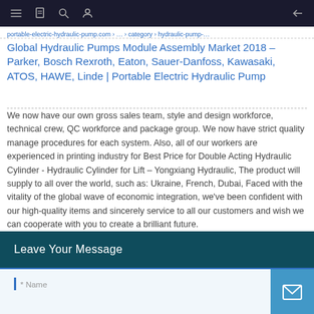Navigation bar with menu, search, user icons and back arrow
Global Hydraulic Pumps Module Assembly Market 2018 – Parker, Bosch Rexroth, Eaton, Sauer-Danfoss, Kawasaki, ATOS, HAWE, Linde | Portable Electric Hydraulic Pump
We now have our own gross sales team, style and design workforce, technical crew, QC workforce and package group. We now have strict quality manage procedures for each system. Also, all of our workers are experienced in printing industry for Best Price for Double Acting Hydraulic Cylinder - Hydraulic Cylinder for Lift – Yongxiang Hydraulic, The product will supply to all over the world, such as: Ukraine, French, Dubai, Faced with the vitality of the global wave of economic integration, we've been confident with our high-quality items and sincerely service to all our customers and wish we can cooperate with you to create a brilliant future.
Leave Your Message